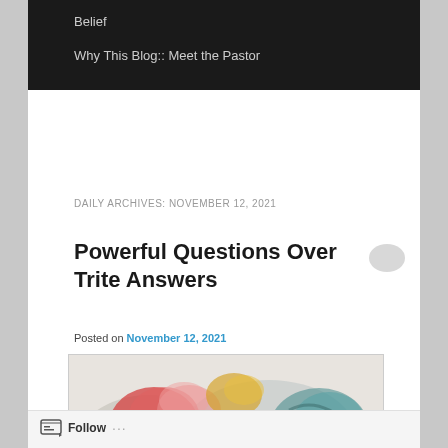Belief
Why This Blog:: Meet the Pastor
DAILY ARCHIVES: NOVEMBER 12, 2021
Powerful Questions Over Trite Answers
Posted on November 12, 2021
[Figure (photo): Watercolor painting of abstract floral shapes in red, pink, teal, yellow, and grey tones]
Follow